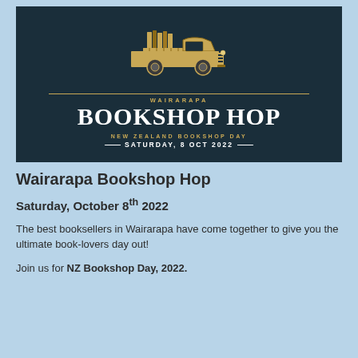[Figure (logo): Dark teal/navy background banner with an illustrated vintage pickup truck loaded with books, golden decorative lines, and the text 'WAIRARAPA BOOKSHOP HOP — NEW ZEALAND BOOKSHOP DAY — SATURDAY, 8 OCT 2022']
Wairarapa Bookshop Hop
Saturday, October 8th 2022
The best booksellers in Wairarapa have come together to give you the ultimate book-lovers day out!
Join us for NZ Bookshop Day, 2022.